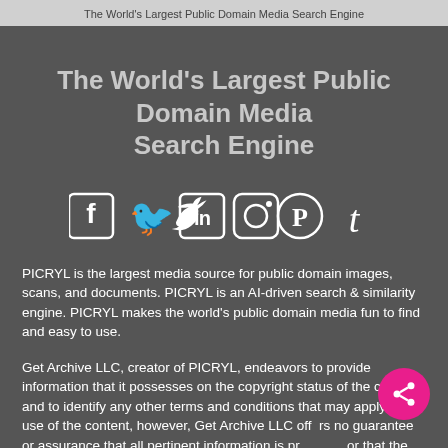The World's Largest Public Domain Media Search Engine
The World's Largest Public Domain Media Search Engine
[Figure (other): Social media icons: Facebook, Twitter, LinkedIn, Instagram, Pinterest, Tumblr]
PICRYL is the largest media source for public domain images, scans, and documents. PICRYL is an AI-driven search & similarity engine. PICRYL makes the world's public domain media fun to find and easy to use.
Get Archive LLC, creator of PICRYL, endeavors to provide information that it possesses on the copyright status of the content and to identify any other terms and conditions that may apply to the use of the content, however, Get Archive LLC offers no guarantee or assurance that all pertinent information is provided, or that the information is correct in each circumstance.